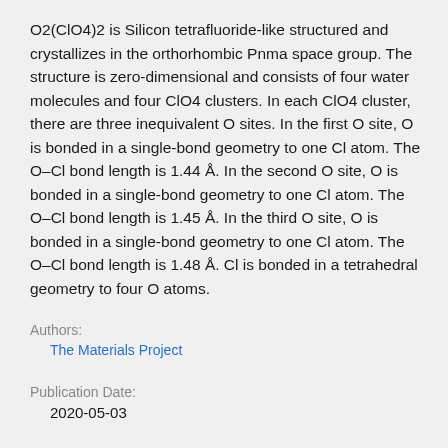O2(ClO4)2 is Silicon tetrafluoride-like structured and crystallizes in the orthorhombic Pnma space group. The structure is zero-dimensional and consists of four water molecules and four ClO4 clusters. In each ClO4 cluster, there are three inequivalent O sites. In the first O site, O is bonded in a single-bond geometry to one Cl atom. The O–Cl bond length is 1.44 Å. In the second O site, O is bonded in a single-bond geometry to one Cl atom. The O–Cl bond length is 1.45 Å. In the third O site, O is bonded in a single-bond geometry to one Cl atom. The O–Cl bond length is 1.48 Å. Cl is bonded in a tetrahedral geometry to four O atoms.
Authors:
The Materials Project
Publication Date:
2020-05-03